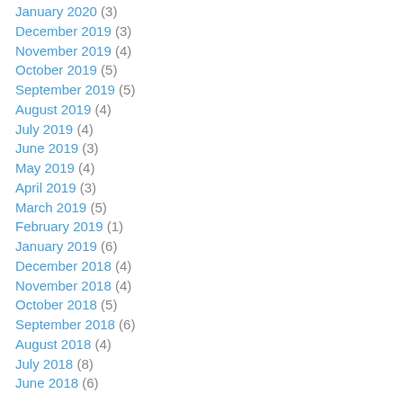January 2020 (3)
December 2019 (3)
November 2019 (4)
October 2019 (5)
September 2019 (5)
August 2019 (4)
July 2019 (4)
June 2019 (3)
May 2019 (4)
April 2019 (3)
March 2019 (5)
February 2019 (1)
January 2019 (6)
December 2018 (4)
November 2018 (4)
October 2018 (5)
September 2018 (6)
August 2018 (4)
July 2018 (8)
June 2018 (6)